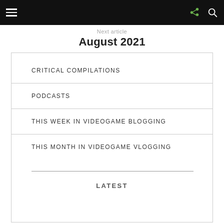Navigation bar with hamburger menu, share icon, and search icon
Next article
August 2021
CRITICAL COMPILATIONS
PODCASTS
THIS WEEK IN VIDEOGAME BLOGGING
THIS MONTH IN VIDEOGAME VLOGGING
LATEST
1  August 21st